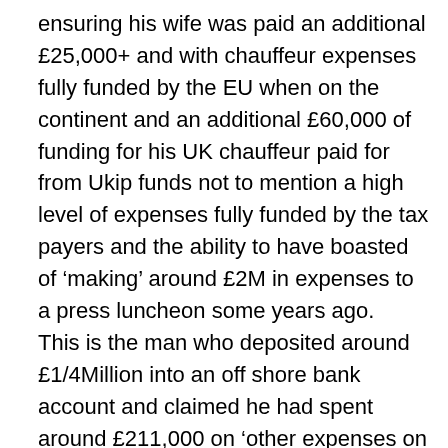ensuring his wife was paid an additional £25,000+ and with chauffeur expenses fully funded by the EU when on the continent and an additional £60,000 of funding for his UK chauffeur paid for from Ukip funds not to mention a high level of expenses fully funded by the tax payers and the ability to have boasted of ‘making’ around £2M in expenses to a press luncheon some years ago. This is the man who deposited around £1/4Million into an off shore bank account and claimed he had spent around £211,000 on ‘other expenses on his office accounts on ‘other expenses’! Yet he pleads poverty! This makes a mokery of the incomes of many of the pensioners and lower middle class & working class who form the base of Ukip’s supporters and who make donations through scams like the Ashcroft Call Center he oversaw and of which was one of the signators to its bank